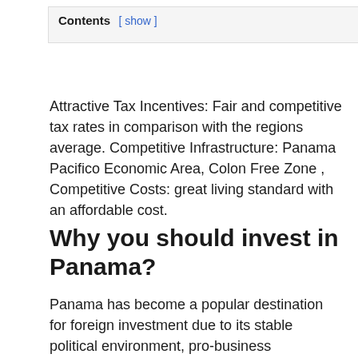Contents [ show ]
Attractive Tax Incentives: Fair and competitive tax rates in comparison with the regions average. Competitive Infrastructure: Panama Pacifico Economic Area, Colon Free Zone , Competitive Costs: great living standard with an affordable cost.
Why you should invest in Panama?
Panama has become a popular destination for foreign investment due to its stable political environment, pro-business government, rising real estate market, and